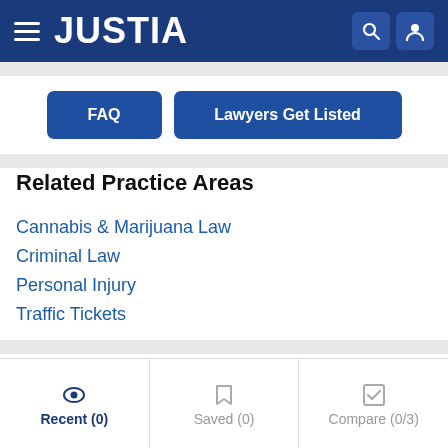JUSTIA
FAQ | Lawyers Get Listed
Related Practice Areas
Cannabis & Marijuana Law
Criminal Law
Personal Injury
Traffic Tickets
Recent (0) | Saved (0) | Compare (0/3)